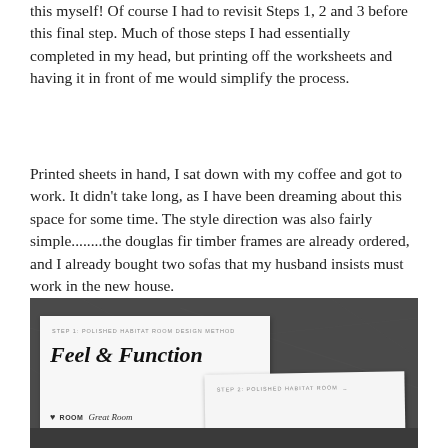this myself!  Of course I had to revisit Steps 1, 2 and 3 before this final step.  Much of those steps I had essentially completed in my head, but printing off the worksheets and having it in front of me would simplify the process.
Printed sheets in hand, I sat down with my coffee and got to work.  It didn’t take long, as I have been dreaming about this space for some time.  The style direction was also fairly simple……….the douglas fir timber frames are already ordered, and I already bought two sofas that my husband insists must work in the new house.
[Figure (photo): A photograph showing printed worksheets labeled 'STEP 1: POLISHED HABITAT ROOM DESIGN METHOD' with the title 'Feel & Function' in cursive script, and a room field showing 'Great Room'. A second sheet partially visible reads 'STEP 2: POLISHED HABITAT ROOM...' The worksheets are placed on a dark textured background.]